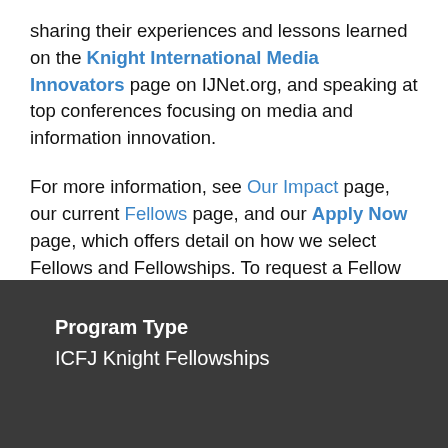sharing their experiences and lessons learned on the Knight International Media Innovators page on IJNet.org, and speaking at top conferences focusing on media and information innovation.
For more information, see Our Impact page, our current Fellows page, and our Apply Now page, which offers detail on how we select Fellows and Fellowships. To request a Fellow to work with an organization, see our Partner With Us page.
Program Type
ICFJ Knight Fellowships